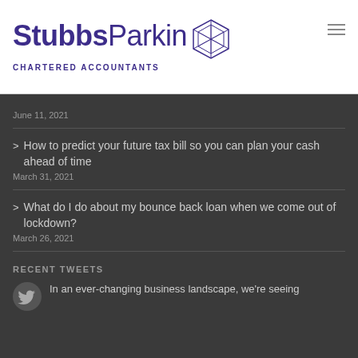[Figure (logo): StubbsParkin Chartered Accountants logo with geometric hexagonal icon in dark purple/navy]
June 11, 2021
How to predict your future tax bill so you can plan your cash ahead of time
March 31, 2021
What do I do about my bounce back loan when we come out of lockdown?
March 26, 2021
RECENT TWEETS
In an ever-changing business landscape, we're seeing